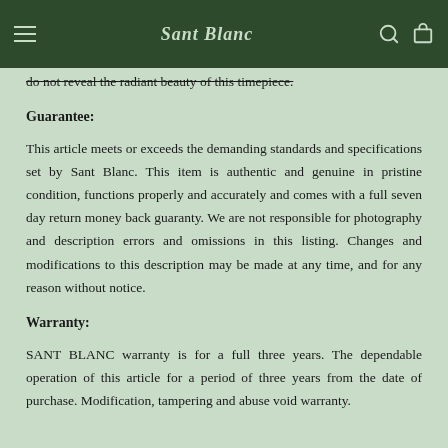Sant Blanc
do not reveal the radiant beauty of this timepiece.
Guarantee:
This article meets or exceeds the demanding standards and specifications set by Sant Blanc. This item is authentic and genuine in pristine condition, functions properly and accurately and comes with a full seven day return money back guaranty. We are not responsible for photography and description errors and omissions in this listing. Changes and modifications to this description may be made at any time, and for any reason without notice.
Warranty:
SANT BLANC warranty is for a full three years. The dependable operation of this article for a period of three years from the date of purchase. Modification, tampering and abuse void warranty.